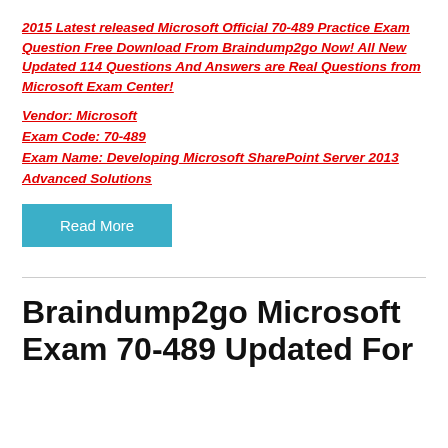2015 Latest released Microsoft Official 70-489 Practice Exam Question Free Download From Braindump2go Now! All New Updated 114 Questions And Answers are Real Questions from Microsoft Exam Center!
Vendor: Microsoft
Exam Code: 70-489
Exam Name: Developing Microsoft SharePoint Server 2013 Advanced Solutions
Read More
Braindump2go Microsoft Exam 70-489 Updated For...